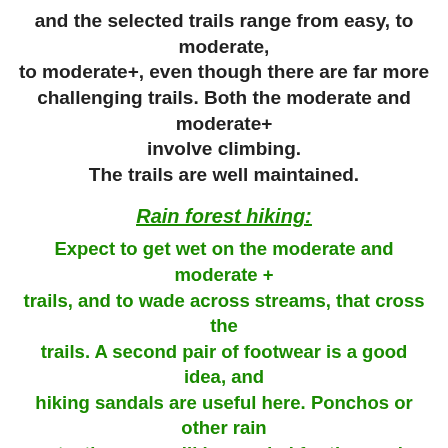and the selected trails range from easy, to moderate, to moderate+, even though there are far more challenging trails. Both the moderate and moderate+ involve climbing.
The trails are well maintained.
Rain forest hiking:
Expect to get wet on the moderate and moderate + trails, and to wade across streams, that cross the trails. A second pair of footwear is a good idea, and hiking sandals are useful here. Ponchos or other rain protection gear will be needed for those who need to stay as dry as possible.
Tour Itinerary:
Thursday March 24, 2016